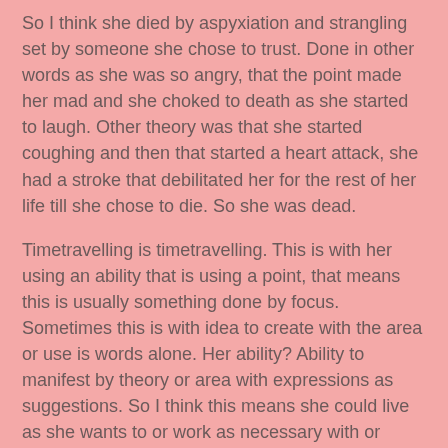So I think she died by aspyxiation and strangling set by someone she chose to trust. Done in other words as she was so angry, that the point made her mad and she choked to death as she started to laugh. Other theory was that she started coughing and then that started a heart attack, she had a stroke that debilitated her for the rest of her life till she chose to die. So she was dead.
Timetravelling is timetravelling. This is with her using an ability that is using a point, that means this is usually something done by focus. Sometimes this is with idea to create with the area or use is words alone. Her ability? Ability to manifest by theory or area with expressions as suggestions. So I think this means she could live as she wants to or work as necessary with or without anyone nearby.
She had this as orgonne that she used:
Teeth and gums; they repair and heal themselves with or without brushing and simply by drinking water.
Really as they press an area that it can extend. The base...